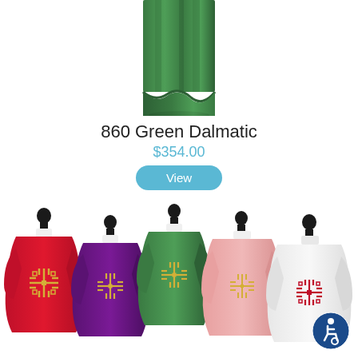[Figure (photo): Green dalmatic vestment shown from the waist down, displayed on a hanger against white background]
860 Green Dalmatic
$354.00
View
[Figure (photo): Five chasubles displayed on mannequins in a row: red, purple, green, pink, and white. Each features an embroidered Jerusalem cross on the front.]